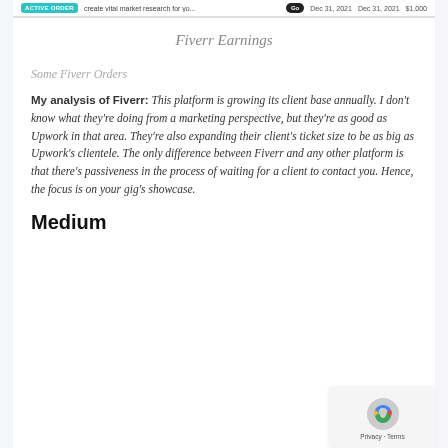| Status | Description | Icon | Date | Date | Amount |
| --- | --- | --- | --- | --- | --- |
| ACTIVE ORDER | create vital market research for yo... | [icon] | Dec 31, 2021 | Dec 31, 2021 | $1,000 |
Fiverr Earnings
Some Fiverr Orders
My analysis of Fiverr: This platform is growing its client base annually. I don't know what they're doing from a marketing perspective, but they're as good as Upwork in that area. They're also expanding their client's ticket size to be as big as Upwork's clientele. The only difference between Fiverr and any other platform is that there's passiveness in the process of waiting for a client to contact you. Hence, the focus is on your gig's showcase.
Medium